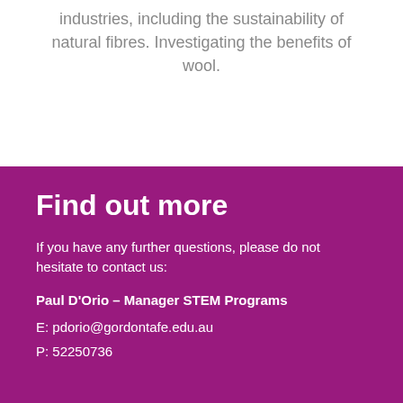industries, including the sustainability of natural fibres. Investigating the benefits of wool.
Find out more
If you have any further questions, please do not hesitate to contact us:
Paul D'Orio – Manager STEM Programs
E: pdorio@gordontafe.edu.au
P: 52250736